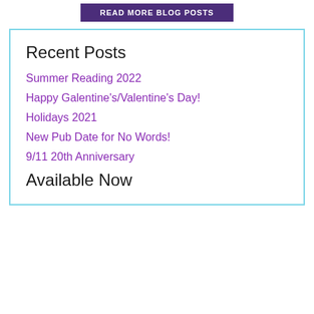READ MORE BLOG POSTS
Recent Posts
Summer Reading 2022
Happy Galentine's/Valentine's Day!
Holidays 2021
New Pub Date for No Words!
9/11 20th Anniversary
Available Now